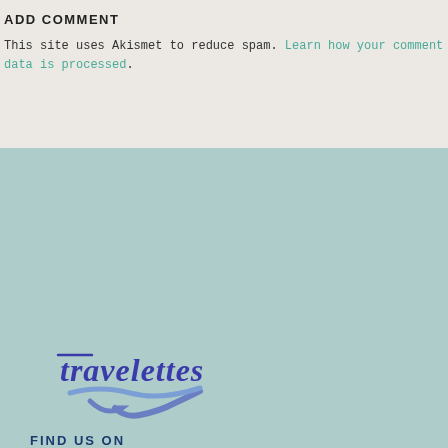ADD COMMENT
This site uses Akismet to reduce spam. Learn how your comment data is processed.
[Figure (logo): Travelettes script logo in blue/purple handwritten style]
FIND US ON
[Figure (infographic): Social media icons: Facebook, Twitter, Google+, LinkedIn, Vimeo, YouTube, Tumblr, Flickr, Instagram, Pinterest, Email, RSS]
NEWSLETTER